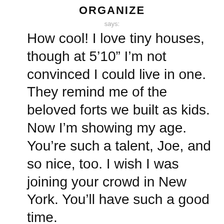ORGANIZE
says:
How cool! I love tiny houses, though at 5’10” I’m not convinced I could live in one. They remind me of the beloved forts we built as kids. Now I’m showing my age. You’re such a talent, Joe, and so nice, too. I wish I was joining your crowd in New York. You’ll have such a good time.